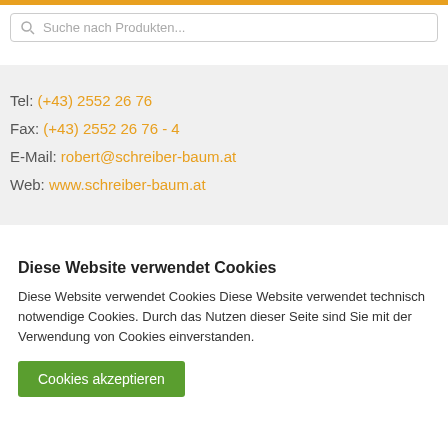Suche nach Produkten...
Tel: (+43) 2552 26 76
Fax: (+43) 2552 26 76 - 4
E-Mail: robert@schreiber-baum.at
Web: www.schreiber-baum.at
Diese Website verwendet Cookies
Diese Website verwendet Cookies Diese Website verwendet technisch notwendige Cookies. Durch das Nutzen dieser Seite sind Sie mit der Verwendung von Cookies einverstanden.
Cookies akzeptieren